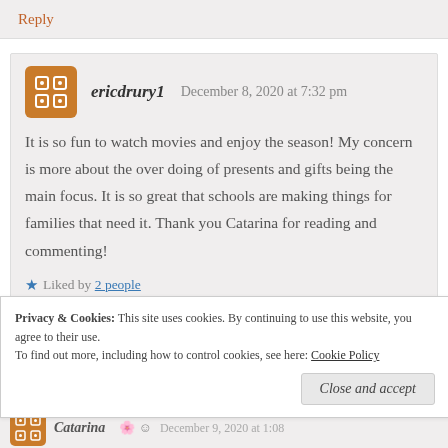Reply
ericdrury1   December 8, 2020 at 7:32 pm
It is so fun to watch movies and enjoy the season! My concern is more about the over doing of presents and gifts being the main focus. It is so great that schools are making things for families that need it. Thank you Catarina for reading and commenting!
Liked by 2 people
Privacy & Cookies: This site uses cookies. By continuing to use this website, you agree to their use.
To find out more, including how to control cookies, see here: Cookie Policy
Close and accept
Catarina   December 9, 2020 at 1:08